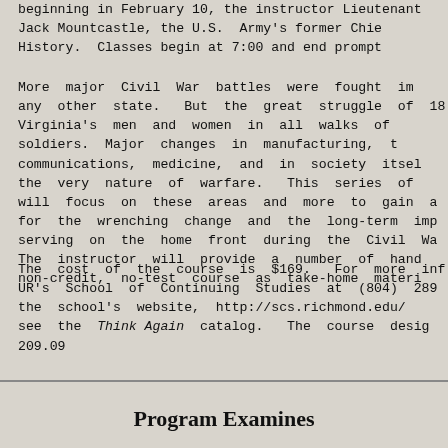beginning in February 10, the instructor Lieutenant Jack Mountcastle, the U.S. Army's former Chief of History. Classes begin at 7:00 and end promptly
More major Civil War battles were fought in any other state. But the great struggle of 18 Virginia's men and women in all walks of soldiers. Major changes in manufacturing, t communications, medicine, and in society itsel the very nature of warfare. This series of will focus on these areas and more to gain a for the wrenching change and the long-term imp serving on the home front during the Civil Wa The instructor will provide a number of hand non-credit, no-test course as take-home materi
The cost of the course is $169. For more inf UR's School of Continuing Studies at (804) 289 the school's website, http://scs.richmond.edu/ see the Think Again catalog. The course desig 209.09
Program Examines